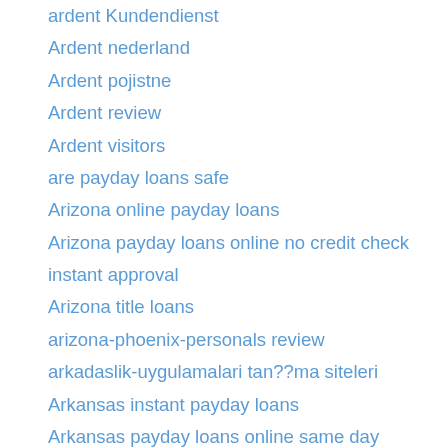ardent Kundendienst
Ardent nederland
Ardent pojistne
Ardent review
Ardent visitors
are payday loans safe
Arizona online payday loans
Arizona payday loans online no credit check instant approval
Arizona title loans
arizona-phoenix-personals review
arkadaslik-uygulamalari tan??ma siteleri
Arkansas instant payday loans
Arkansas payday loans online same day
Arkansas_Augusta payday loans
Arkansas_Crossett payday loans
Arkansas_Fordyce payday loans
Arkansas_Searcy payday loans